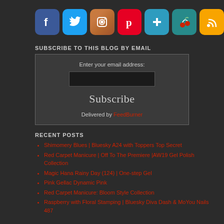[Figure (other): Row of social media icon buttons: Facebook (blue), Twitter (blue), Instagram (brown/camera), Pinterest (red), Google+ (teal/blue), Cherry icon (teal), RSS (orange)]
SUBSCRIBE TO THIS BLOG BY EMAIL
Enter your email address:
Subscribe
Delivered by FeedBurner
RECENT POSTS
Shimomery Blues | Bluesky A24 with Toppers Top Secret
Red Carpet Manicure | Off To The Premiere |AW19 Gel Polish Collection
Magic Hana Rainy Day (124) | One-step Gel
Pink Gellac Dynamic Pink
Red Carpet Manicure: Bloom Style Collection
Raspberry with Floral Stamping | Bluesky Diva Dash & MoYou Nails 487